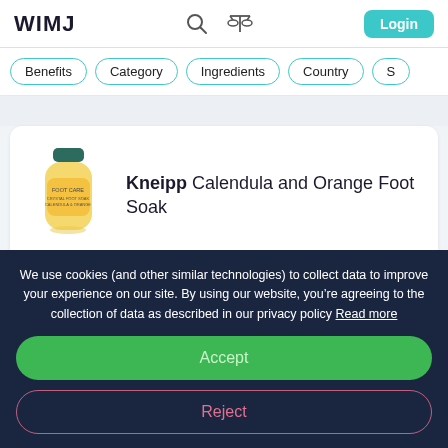WIMJ
Benefits
Category
Ingredients
Country
[Figure (photo): Kneipp Calendula and Orange Foot Soak product bottle with dark green cap and yellow/orange label]
Kneipp Calendula and Orange Foot Soak
WORKS FOR
KEY INGREDIENTS
We use cookies (and other similar technologies) to collect data to improve your experience on our site. By using our website, you’re agreeing to the collection of data as described in our privacy policy Read more
Accept
Reject